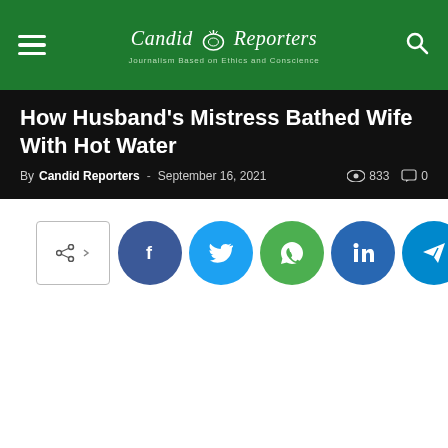Candid Reporters — Journalism Based on Ethics and Conscience
How Husband's Mistress Bathed Wife With Hot Water
By Candid Reporters - September 16, 2021  833  0
[Figure (other): Social share buttons: share toggle, Facebook, Twitter, WhatsApp, LinkedIn, Telegram]